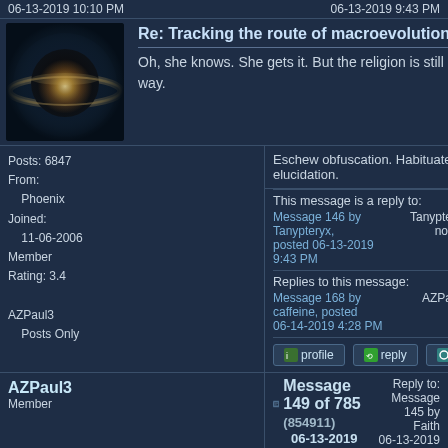06-13-2019 10:10 PM
06-13-2019 9:43 PM
[Figure (photo): Saturn planet avatar image]
Re: Tracking the route of macroevolution
Oh, she knows. She gets it. But the religion is still in the way.
Posts: 6847
From:
    Phoenix
Joined:
    11-06-2006
Member
Rating: 3.4

AZPaul3
    Posts Only
Eschew obfuscation. Habituate elucidation.
This message is a reply to:
Message 146 by Tanypteryx, posted 06-13-2019 9:43 PM
Tanypteryx has not replied
Replies to this message:
Message 168 by caffeine, posted 06-14-2019 4:28 PM
AZPaul3 has replied
profile   reply   peek
AZPaul3
Member
Message 149 of 785 (854911)
06-13-2019 10:30 PM
Reply to: Message 145 by Faith
06-13-2019 9:39 PM
[Figure (photo): Saturn planet avatar image]
Re: Tracking the route of macroevolution
Tany just gave me a thought. (Thank you,